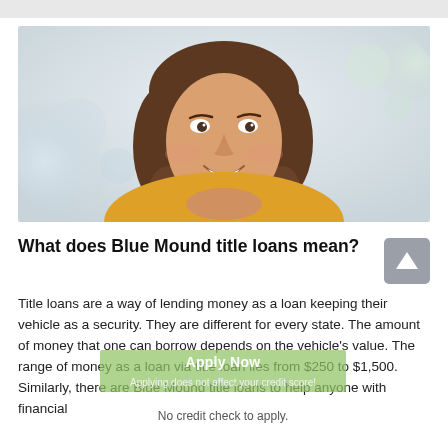[Figure (photo): Smiling young woman with brown wavy hair, wearing a yellow/orange top, hands clasped near chin, blurred light background.]
What does Blue Mound title loans mean?
Title loans are a way of lending money as a loan keeping their vehicle as a security. They are different for every state. The amount of money that one can borrow depends on the vehicle's value. The range of money as a loan via title loan lies from $250 to $1,500. Similarly, there are Blue Mound title loans to help anyone with financial
[Figure (other): Green semi-transparent overlay button with text 'Apply Now' and subtext 'Applying does not affect your credit score!' and 'No credit check to apply.']